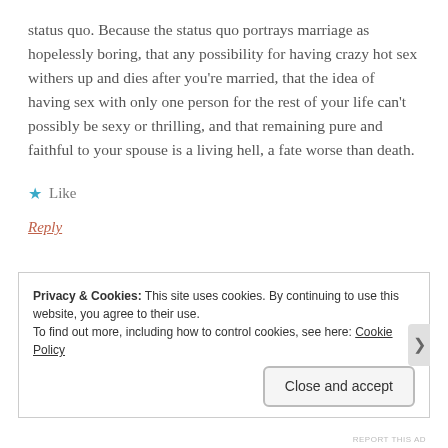status quo. Because the status quo portrays marriage as hopelessly boring, that any possibility for having crazy hot sex withers up and dies after you're married, that the idea of having sex with only one person for the rest of your life can't possibly be sexy or thrilling, and that remaining pure and faithful to your spouse is a living hell, a fate worse than death.
★ Like
Reply
Privacy & Cookies: This site uses cookies. By continuing to use this website, you agree to their use.
To find out more, including how to control cookies, see here: Cookie Policy
Close and accept